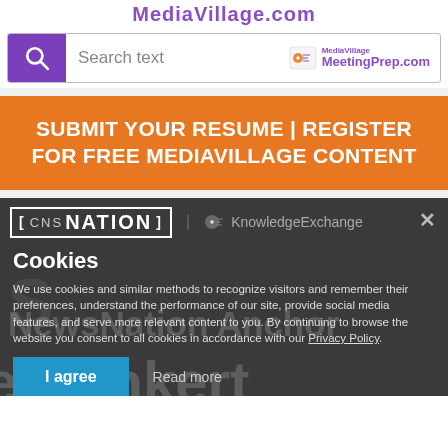MediaVillage.com
[Figure (screenshot): Search bar with purple magnifying glass icon on left and MediaVillage MeetingPrep.com logo on right]
[Figure (infographic): Orange banner with white text: SUBMIT YOUR RESUME | REGISTER FOR FREE MEDIAVILLAGE CONTENT]
[Figure (screenshot): Dark gray background section showing CNSNation logo and KnowledgeExchange logo, with background text of 'NewsNation Anchor' and 'Bankert']
Cookies
We use cookies and similar methods to recognize visitors and remember their preferences, understand the performance of our site, provide social media features, and serve more relevant content to you. By continuing to browse the website you consent to all cookies in accordance with our Privacy Policy.
I agree
Read more